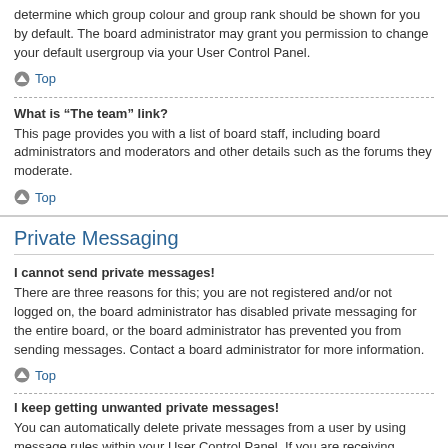determine which group colour and group rank should be shown for you by default. The board administrator may grant you permission to change your default usergroup via your User Control Panel.
Top
What is “The team” link?
This page provides you with a list of board staff, including board administrators and moderators and other details such as the forums they moderate.
Top
Private Messaging
I cannot send private messages!
There are three reasons for this; you are not registered and/or not logged on, the board administrator has disabled private messaging for the entire board, or the board administrator has prevented you from sending messages. Contact a board administrator for more information.
Top
I keep getting unwanted private messages!
You can automatically delete private messages from a user by using message rules within your User Control Panel. If you are receiving abusive private messages from a particular user, report the messages to the moderators; they have the power to prevent a user from sending private messages.